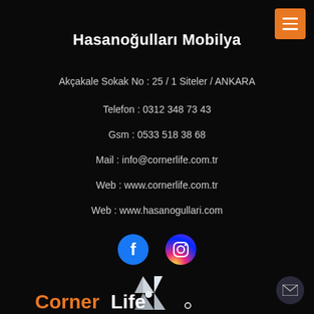Hasanoğulları Mobilya
Akçakale Sokak No : 25 / 1 Siteler / ANKARA
Telefon : 0312 348 73 43
Gsm : 0533 518 38 68
Mail : info@cornerlife.com.tr
Web : www.cornerlife.com.tr
Web : www.hasanogullari.com
[Figure (logo): Facebook and Instagram social media icons]
[Figure (logo): Cornerlife logo with silver emblem and orange/white text at bottom]